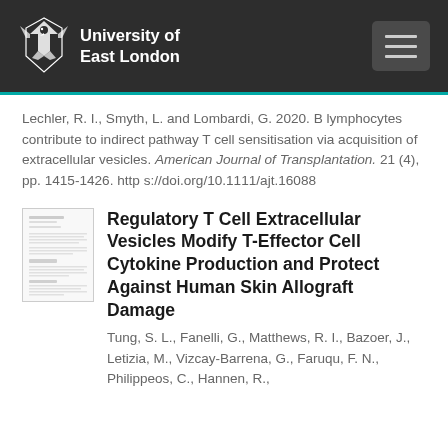University of East London
Lechler, R. I., Smyth, L. and Lombardi, G. 2020. B lymphocytes contribute to indirect pathway T cell sensitisation via acquisition of extracellular vesicles. American Journal of Transplantation. 21 (4), pp. 1415-1426. https://doi.org/10.1111/ajt.16088
[Figure (screenshot): Thumbnail image of academic paper]
Regulatory T Cell Extracellular Vesicles Modify T-Effector Cell Cytokine Production and Protect Against Human Skin Allograft Damage
Tung, S. L., Fanelli, G., Matthews, R. I., Bazoer, J., Letizia, M., Vizcay-Barrena, G., Faruqu, F. N., Philippeos, C., Hannen, R.,